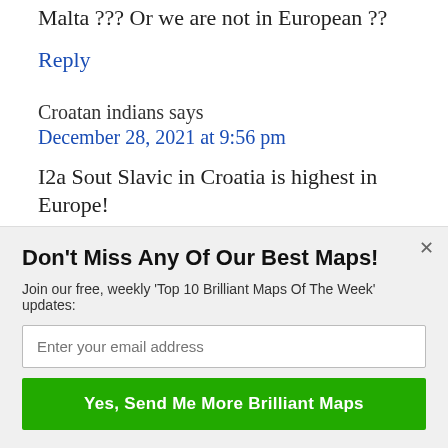Malta ??? Or we are not in European ??
Reply
Croatan indians says
December 28, 2021 at 9:56 pm
I2a Sout Slavic in Croatia is highest in Europe!
[Figure (other): POWERED BY SUMO badge]
Don't Miss Any Of Our Best Maps!
Join our free, weekly 'Top 10 Brilliant Maps Of The Week' updates:
Enter your email address
Yes, Send Me More Brilliant Maps